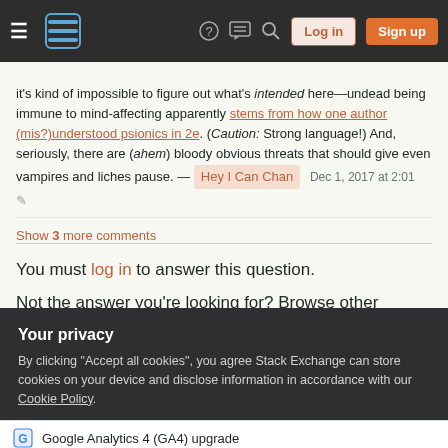Stack Exchange navigation bar with hamburger menu, logo, help, chat, search, Log in, Sign up buttons
it's kind of impossible to figure out what's intended here—undead being immune to mind-affecting apparently stems from how one author (mis?)understood psionics in 2e. (Caution: Strong language!) And, seriously, there are (ahem) bloody obvious threats that should give even vampires and liches pause. — Hey I Can Chan Dec 1, 2017 at 2:01
Show 3 more comments
You must log in to answer this question.
Not the answer you're looking for? Browse other questions
Your privacy
By clicking "Accept all cookies", you agree Stack Exchange can store cookies on your device and disclose information in accordance with our Cookie Policy.
Accept all cookies
Customize settings
Google Analytics 4 (GA4) upgrade